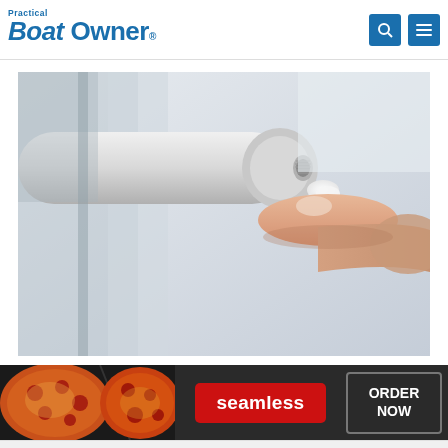Practical Boat Owner
[Figure (photo): Close-up photo of a hand squeezing a small tube of white cream/adhesive onto a fingertip, with a white cylindrical object in the background]
[Figure (photo): Seamless food ordering advertisement banner showing pizza images on the left, a red 'seamless' badge in the center, and an 'ORDER NOW' button on the right with a close (x) button in the top-right corner]